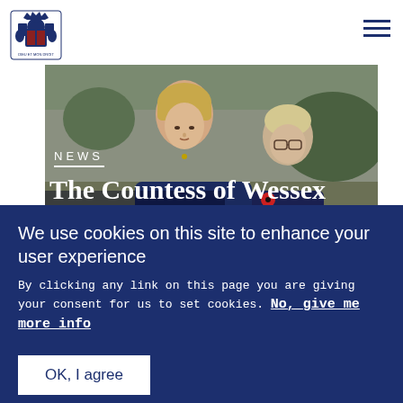[Figure (logo): Royal coat of arms logo in navy blue]
[Figure (photo): Two women in navy blue polo shirts outdoors, one in foreground looking down, one in background wearing glasses and a red poppy]
NEWS
The Countess of Wessex opens the Thames
We use cookies on this site to enhance your user experience
By clicking any link on this page you are giving your consent for us to set cookies. No, give me more info
OK, I agree